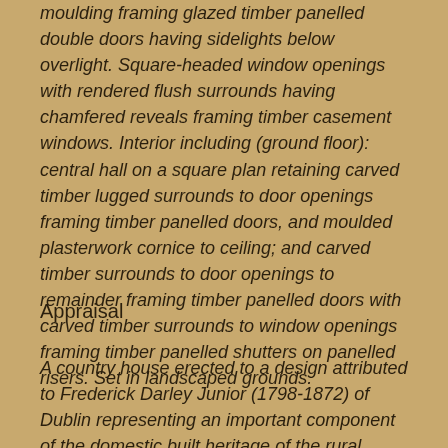moulding framing glazed timber panelled double doors having sidelights below overlight. Square-headed window openings with rendered flush surrounds having chamfered reveals framing timber casement windows. Interior including (ground floor): central hall on a square plan retaining carved timber lugged surrounds to door openings framing timber panelled doors, and moulded plasterwork cornice to ceiling; and carved timber surrounds to door openings to remainder framing timber panelled doors with carved timber surrounds to window openings framing timber panelled shutters on panelled risers. Set in landscaped grounds.
Appraisal
A country house erected to a design attributed to Frederick Darley Junior (1798-1872) of Dublin representing an important component of the domestic built heritage of the rural environs of Claremorris with the